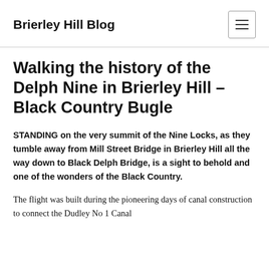Brierley Hill Blog
Walking the history of the Delph Nine in Brierley Hill – Black Country Bugle
STANDING on the very summit of the Nine Locks, as they tumble away from Mill Street Bridge in Brierley Hill all the way down to Black Delph Bridge, is a sight to behold and one of the wonders of the Black Country.
The flight was built during the pioneering days of canal construction to connect the Dudley No 1 Canal with the...